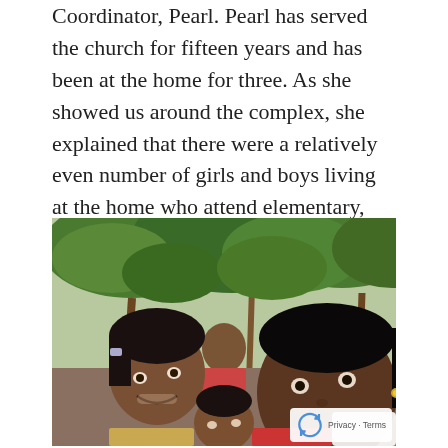Coordinator, Pearl. Pearl has served the church for fifteen years and has been at the home for three. As she showed us around the complex, she explained that there were a relatively even number of girls and boys living at the home who attend elementary, middle, and high school on the property.
[Figure (photo): Group of Indian children, primarily girls, smiling outdoors with trees visible in the background.]